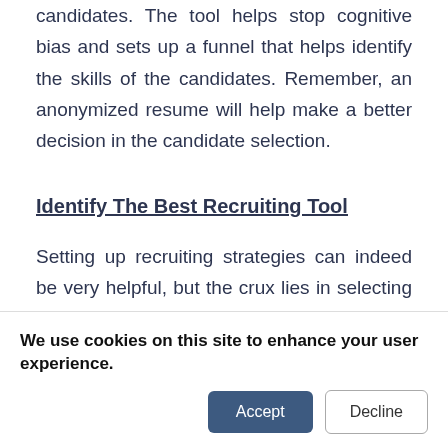candidates. The tool helps stop cognitive bias and sets up a funnel that helps identify the skills of the candidates. Remember, an anonymized resume will help make a better decision in the candidate selection.
Identify The Best Recruiting Tool
Setting up recruiting strategies can indeed be very helpful, but the crux lies in selecting the resume parser that helps you from the first
We use cookies on this site to enhance your user experience.